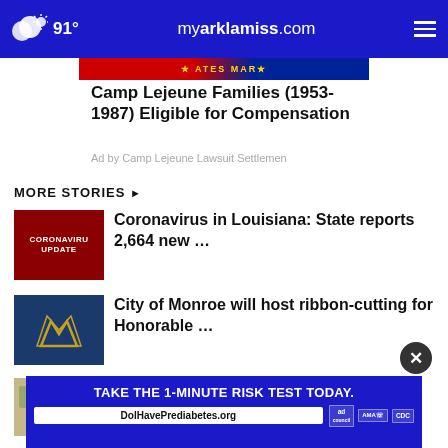91° myarklamiss.com
[Figure (screenshot): Partial banner image showing STATES MAR text with red and blue background (US Marines emblem)]
Camp Lejeune Families (1953-1987) Eligible for Compensation
Ad by Camp Lejeune Lawsuit Settlemen
MORE STORIES ›
[Figure (screenshot): Red background thumbnail with CORONAVIRUS UPDATE text in white]
Coronavirus in Louisiana: State reports 2,664 new …
[Figure (logo): City of Monroe logo — dark blue background with gold geometric mountain/arch symbol]
City of Monroe will host ribbon-cutting for Honorable …
[Figure (photo): US currency bills scattered]
Rent in Little Rock rising, still below state, national
[Figure (screenshot): Blue banner ad: TAKE THE 1-MINUTE RISK TEST TODAY. DolHavePrediabetes.org with ad council, AMA, CDC logos]
TAKE THE 1-MINUTE RISK TEST TODAY.
DolHavePrediabetes.org